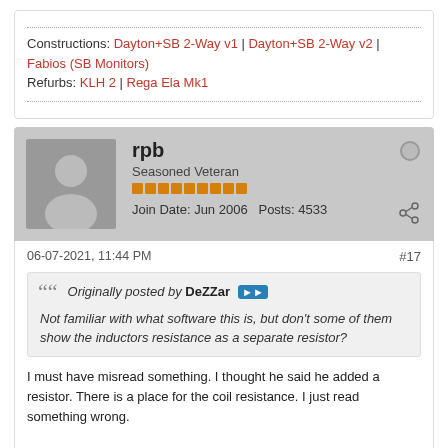Constructions: Dayton+SB 2-Way v1 | Dayton+SB 2-Way v2 | Fabios (SB Monitors)
Refurbs: KLH 2 | Rega Ela Mk1
rpb
Seasoned Veteran
Join Date: Jun 2006  Posts: 4533
06-07-2021, 11:44 PM
#17
Originally posted by DeZZar
Not familiar with what software this is, but don't some of them show the inductors resistance as a separate resistor?
I must have misread something. I thought he said he added a resistor. There is a place for the coil resistance. I just read something wrong.

Edit... Mentioned the resistor in post #8.